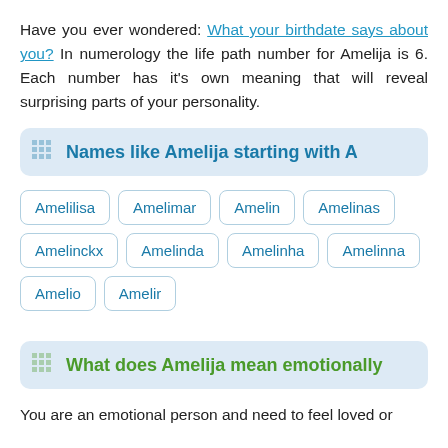Have you ever wondered: What your birthdate says about you? In numerology the life path number for Amelija is 6. Each number has it's own meaning that will reveal surprising parts of your personality.
Names like Amelija starting with A
Amelilisa
Amelimar
Amelin
Amelinas
Amelinckx
Amelinda
Amelinha
Amelinna
Amelio
Amelir
What does Amelija mean emotionally
You are an emotional person and need to feel loved or